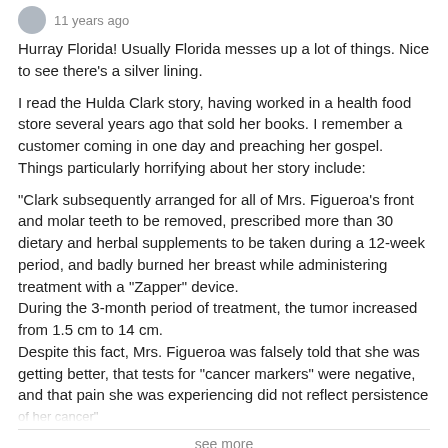11 years ago
Hurray Florida! Usually Florida messes up a lot of things. Nice to see there's a silver lining.
I read the Hulda Clark story, having worked in a health food store several years ago that sold her books. I remember a customer coming in one day and preaching her gospel. Things particularly horrifying about her story include:
"Clark subsequently arranged for all of Mrs. Figueroa's front and molar teeth to be removed, prescribed more than 30 dietary and herbal supplements to be taken during a 12-week period, and badly burned her breast while administering treatment with a "Zapper" device.
During the 3-month period of treatment, the tumor increased from 1.5 cm to 14 cm.
Despite this fact, Mrs. Figueroa was falsely told that she was getting better, that tests for "cancer markers" were negative, and that pain she was experiencing did not reflect persistence of her cancer"
see more